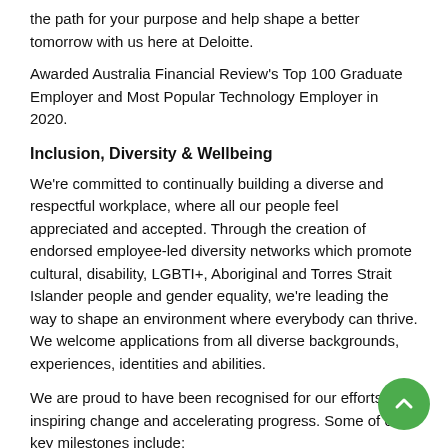the path for your purpose and help shape a better tomorrow with us here at Deloitte.
Awarded Australia Financial Review's Top 100 Graduate Employer and Most Popular Technology Employer in 2020.
Inclusion, Diversity & Wellbeing
We're committed to continually building a diverse and respectful workplace, where all our people feel appreciated and accepted. Through the creation of endorsed employee-led diversity networks which promote cultural, disability, LGBTI+, Aboriginal and Torres Strait Islander people and gender equality, we're leading the way to shape an environment where everybody can thrive. We welcome applications from all diverse backgrounds, experiences, identities and abilities.
We are proud to have been recognised for our efforts in inspiring change and accelerating progress. Some of our key milestones include:
Catalyst Award – in recognition of our initiatives to dr... gender equality
LGBTI+ Inclusion Gold Employer of Choice 2020 Award by...